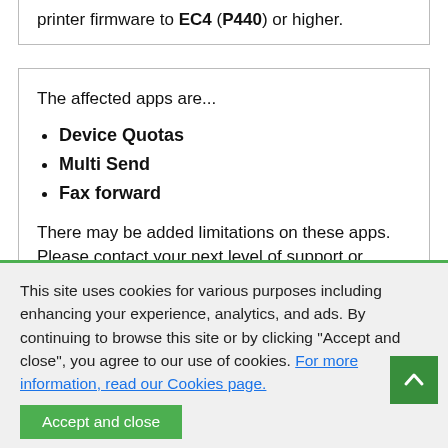printer firmware to EC4 (P440) or higher.
The affected apps are...
Device Quotas
Multi Send
Fax forward
There may be added limitations on these apps. Please contact your next level of support or Lexmark Technical Support for assistance.
This site uses cookies for various purposes including enhancing your experience, analytics, and ads. By continuing to browse this site or by clicking "Accept and close", you agree to our use of cookies. For more information, read our Cookies page.
Accept and close